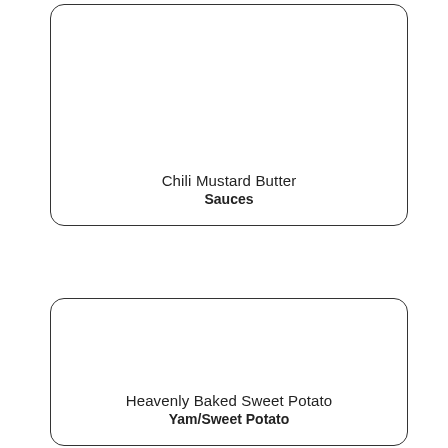[Figure (other): Rounded rectangle card with text: Chili Mustard Butter / Sauces]
[Figure (other): Rounded rectangle card with text: Heavenly Baked Sweet Potato / Yam/Sweet Potato]